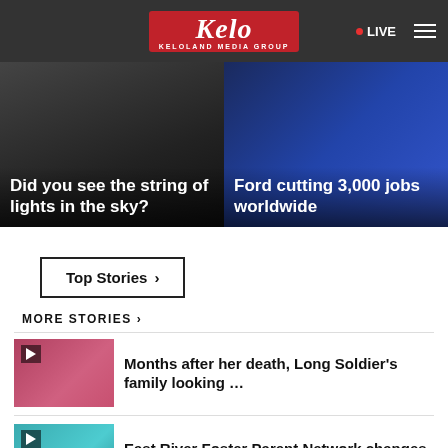KELOLAND Media Group — LIVE
[Figure (photo): Hero image left: dark background with string of lights headline overlay]
Did you see the string of lights in the sky?
[Figure (photo): Hero image right: Ford logo blue background with jobs headline overlay]
Ford cutting 3,000 jobs worldwide
Top Stories ›
MORE STORIES ›
Months after her death, Long Soldier's family looking …
East River Foster Parent Network changes name
Want to share images of food for Dakota …